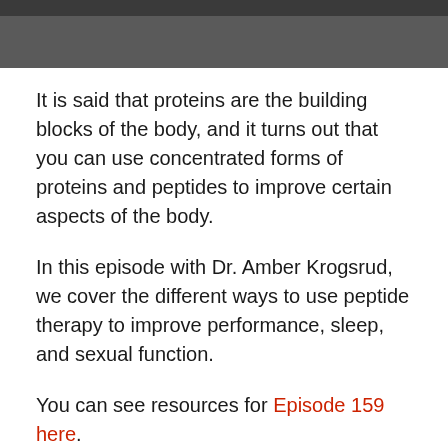[Figure (photo): Partial image at top of page showing a dark gray/charcoal banner, likely a podcast or episode thumbnail cropped at the top.]
It is said that proteins are the building blocks of the body, and it turns out that you can use concentrated forms of proteins and peptides to improve certain aspects of the body.
In this episode with Dr. Amber Krogsrud, we cover the different ways to use peptide therapy to improve performance, sleep, and sexual function.
You can see resources for Episode 159 here.